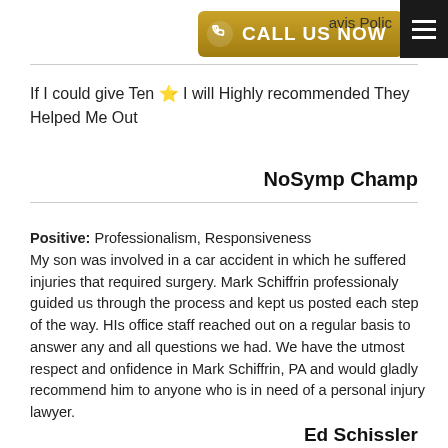[Figure (screenshot): Call Us Now button with phone icon in gold/brown gradient]
avis Polic
If I could give Ten ⭐ I will Highly recommended They Helped Me Out
NoSymp Champ
Positive: Professionalism, Responsiveness
My son was involved in a car accident in which he suffered injuries that required surgery. Mark Schiffrin professionaly guided us through the process and kept us posted each step of the way. HIs office staff reached out on a regular basis to answer any and all questions we had. We have the utmost respect and onfidence in Mark Schiffrin, PA and would gladly recommend him to anyone who is in need of a personal injury lawyer.
Ed Schissler